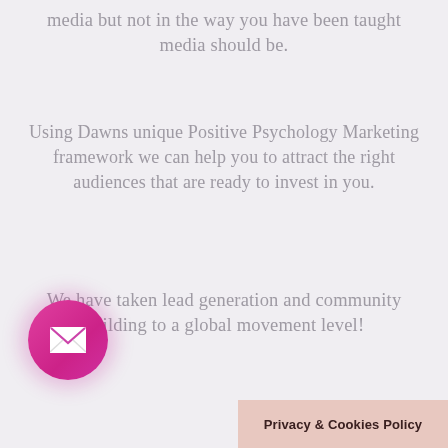media but not in the way you have been taught media should be.
Using Dawns unique Positive Psychology Marketing framework we can help you to attract the right audiences that are ready to invest in you.
We have taken lead generation and community building to a global movement level!
[Figure (illustration): Pink/magenta circular button with a white envelope mail icon, with a soft glow/shadow around it]
Privacy & Cookies Policy